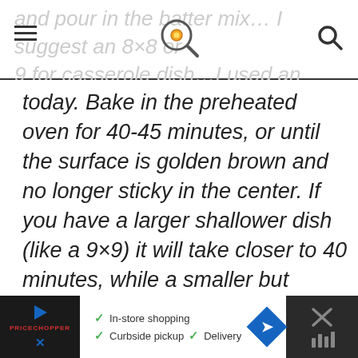and pour in the batter mix… I suggest an 8×8 or 9 for casserole dish…I used an oval dish
today. Bake in the preheated oven for 40-45 minutes, or until the surface is golden brown and no longer sticky in the center. If you have a larger shallower dish (like a 9×9) it will take closer to 40 minutes, while a smaller but deeper dish (like an 8×8) will take a bit longer.
ADVERTISEMENT
[Figure (other): Bottom advertisement banner showing brand logo with play button, In-store shopping, Curbside pickup, Delivery checkmarks, navigation arrow icon, and close/mic buttons]